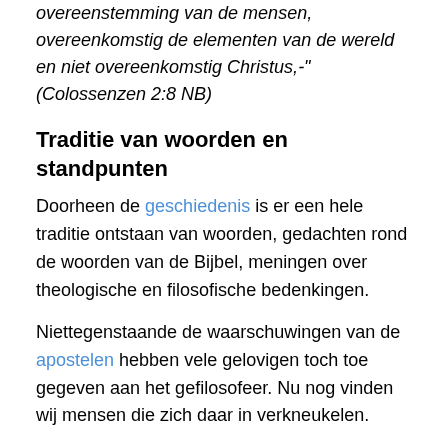overeenstemming van de mensen, overeenkomstig de elementen van de wereld en niet overeenkomstig Christus,-" (Colossenzen 2:8 NB)
Traditie van woorden en standpunten
Doorheen de geschiedenis is er een hele traditie ontstaan van woorden, gedachten rond de woorden van de Bijbel, meningen over theologische en filosofische bedenkingen.
Niettegenstaande de waarschuwingen van de apostelen hebben vele gelovigen toch toe gegeven aan het gefilosofeer. Nu nog vinden wij mensen die zich daar in verkneukelen.
In de kerk werd een traditie opgebouwd om de woorden en zinnen van de Bijbel vanuit een filosofisch standpunt te bekijken, de invoering van veel van de visioenen van